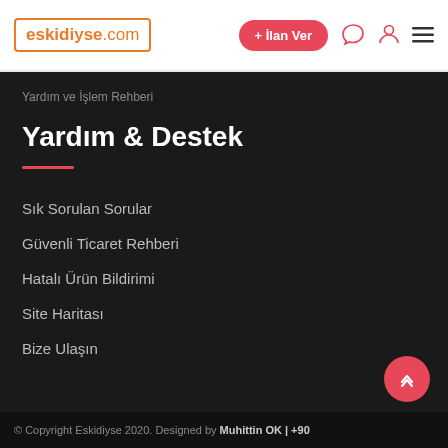eskidiyse.com | + İlan Ver [icons]
Yardım ve İşlem Rehberi
Yardım & Destek
Sık Sorulan Sorular
Güvenli Ticaret Rehberi
Hatalı Ürün Bildirimi
Site Haritası
Bize Ulaşın
© Copyright Eskidiyse 2020. Designed by Muhittin OK | +90